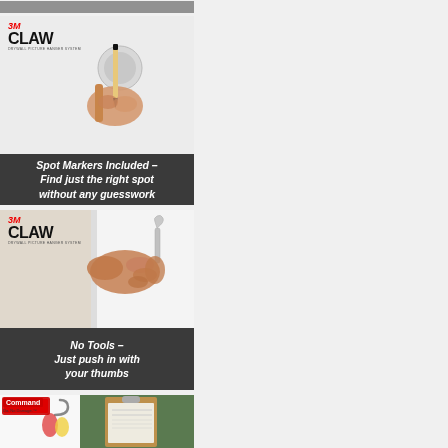[Figure (photo): Top partial image strip showing bottom of a photo, dark/gray]
[Figure (photo): 3M CLAW product promotional image: hand pressing a spot marker onto a white wall, with a pencil/marker tool. 3M CLAW logo in top-left.]
Spot Markers Included – Find just the right spot without any guesswork
[Figure (photo): 3M CLAW product promotional image: hand pushing a drywall picture hanger hook into a white wall. 3M CLAW logo in top-left.]
No Tools – Just push in with your thumbs
[Figure (photo): Command brand product promotional image: clipboard and hooks hung on walls with Command strips, partial view.]